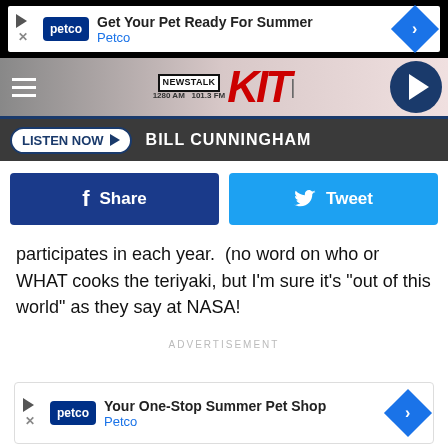[Figure (screenshot): Petco advertisement banner at top: 'Get Your Pet Ready For Summer - Petco']
[Figure (logo): NewsTalk KIT 1280 AM 101.3 FM radio station logo with navigation bar and play button]
[Figure (screenshot): Listen Now button with Bill Cunningham label on dark bar]
[Figure (screenshot): Facebook Share and Twitter Tweet social sharing buttons]
participates in each year.  (no word on who or WHAT cooks the teriyaki, but I'm sure it's "out of this world" as they say at NASA!
ADVERTISEMENT
[Figure (screenshot): Petco advertisement banner at bottom: 'Your One-Stop Summer Pet Shop - Petco']